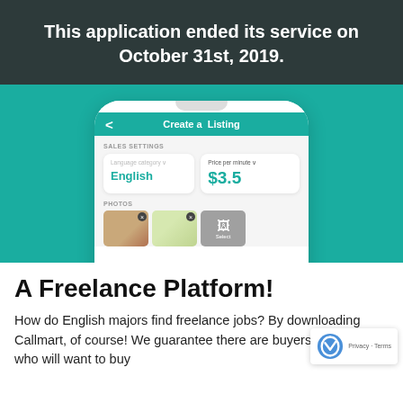This application ended its service on October 31st, 2019.
[Figure (screenshot): Mobile app screenshot showing 'Create a Listing' screen with language category set to English and price per minute set to $3.5, with photos section below on a teal background.]
A Freelance Platform!
How do English majors find freelance jobs? By downloading Callmart, of course! We guarantee there are buyers out there who will want to buy